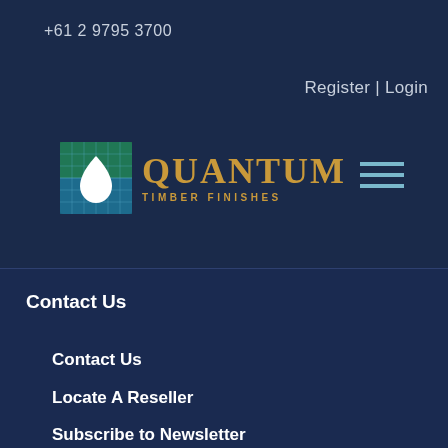+61 2 9795 3700
Register | Login
[Figure (logo): Quantum Timber Finishes logo with square icon (blue/green grid background with white teardrop) and gold serif text QUANTUM with TIMBER FINISHES subtitle]
[Figure (other): Hamburger menu icon (three horizontal lines) in light blue/teal color]
Contact Us
Contact Us
Locate A Reseller
Subscribe to Newsletter
Delivery Information